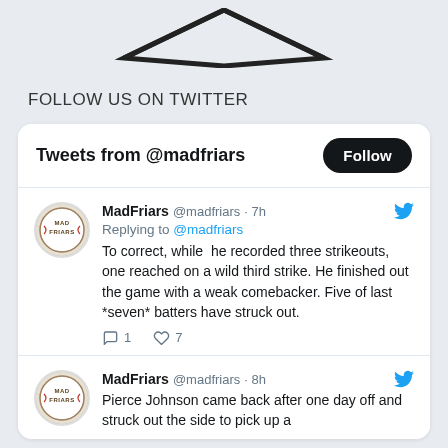[Figure (logo): MadFriars logo (partial, top cut off) — arrow/diamond shape visible at top]
FOLLOW US ON TWITTER
Tweets from @madfriars
MadFriars @madfriars · 7h
Replying to @madfriars
To correct, while he recorded three strikeouts, one reached on a wild third strike. He finished out the game with a weak comebacker. Five of last *seven* batters have struck out.
1 7
MadFriars @madfriars · 8h
Pierce Johnson came back after one day off and struck out the side to pick up a